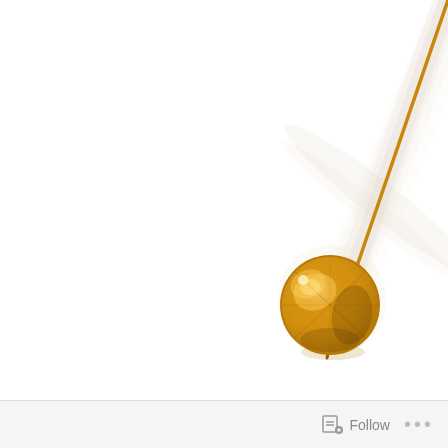Posted on January 4, 2017 by Faye
[Figure (photo): A golden pendulum bob on a thin rod swinging against a white background, with motion blur trails visible behind it. The pendulum bob is a shiny golden metallic sphere, photographed mid-swing from the upper right area of the image.]
Follow ...